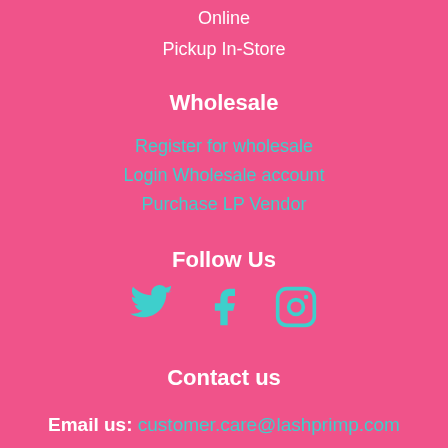Online
Pickup In-Store
Wholesale
Register for wholesale
Login Wholesale account
Purchase LP Vendor
Follow Us
[Figure (illustration): Three social media icons: Twitter bird, Facebook f, and Instagram camera, rendered in teal color]
Contact us
Email us: customer.care@lashprimp.com
Call us: (404) 600-1116